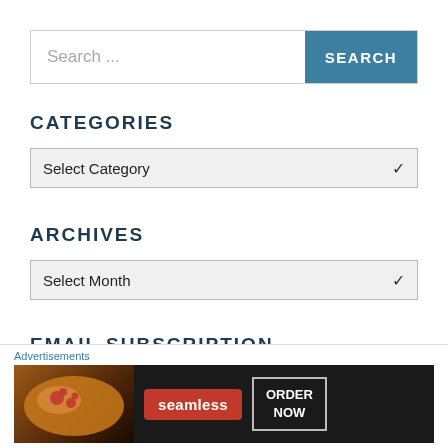[Figure (screenshot): Search bar with text input placeholder 'Search ...' and a teal SEARCH button on the right]
CATEGORIES
[Figure (screenshot): Dropdown selector showing 'Select Category' with a chevron arrow]
ARCHIVES
[Figure (screenshot): Dropdown selector showing 'Select Month' with a chevron arrow]
EMAIL SUBSCRIPTION
[Figure (screenshot): Seamless food delivery advertisement banner with pizza image, Seamless logo, and ORDER NOW button]
Advertisements